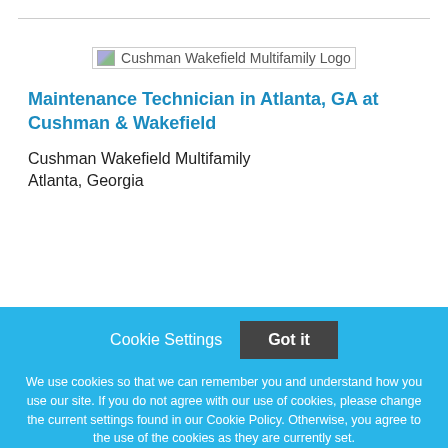[Figure (logo): Cushman Wakefield Multifamily Logo placeholder image]
Maintenance Technician in Atlanta, GA at Cushman & Wakefield
Cushman Wakefield Multifamily
Atlanta, Georgia
[Figure (other): NEW! badge (green circle)]
Cookie Settings   Got it
We use cookies so that we can remember you and understand how you use our site. If you do not agree with our use of cookies, please change the current settings found in our Cookie Policy. Otherwise, you agree to the use of the cookies as they are currently set.